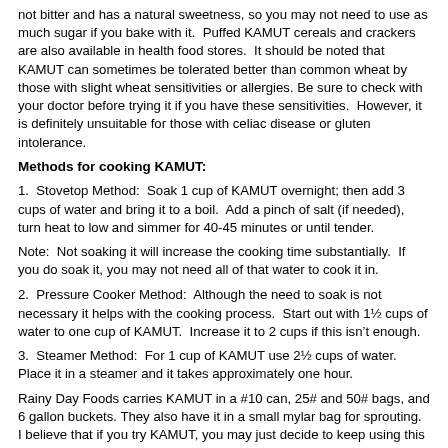not bitter and has a natural sweetness, so you may not need to use as much sugar if you bake with it.  Puffed KAMUT cereals and crackers are also available in health food stores.  It should be noted that KAMUT can sometimes be tolerated better than common wheat by those with slight wheat sensitivities or allergies. Be sure to check with your doctor before trying it if you have these sensitivities.  However, it is definitely unsuitable for those with celiac disease or gluten intolerance.
Methods for cooking KAMUT:
1.  Stovetop Method:  Soak 1 cup of KAMUT overnight; then add 3 cups of water and bring it to a boil.  Add a pinch of salt (if needed), turn heat to low and simmer for 40-45 minutes or until tender.
Note:  Not soaking it will increase the cooking time substantially.  If you do soak it, you may not need all of that water to cook it in.
2.  Pressure Cooker Method:  Although the need to soak is not necessary it helps with the cooking process.  Start out with 1½ cups of water to one cup of KAMUT.  Increase it to 2 cups if this isn't enough.
3.  Steamer Method:  For 1 cup of KAMUT use 2½ cups of water.  Place it in a steamer and it takes approximately one hour.
Rainy Day Foods carries KAMUT in a #10 can, 25# and 50# bags, and 6 gallon buckets. They also have it in a small mylar bag for sprouting.  I believe that if you try KAMUT, you may just decide to keep using this new but ancient grain.